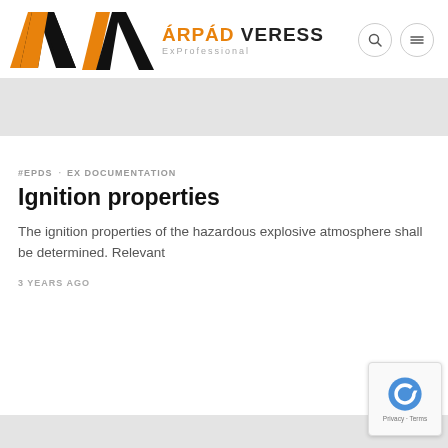ÁRPÁD VERESS ExProfessional
[Figure (logo): AV logo with orange and black geometric shapes, company name ÁRPÁD VERESS and tagline ExProfessional]
#EPDS  EX DOCUMENTATION
Ignition properties
The ignition properties of the hazardous explosive atmosphere shall be determined. Relevant
3 YEARS AGO